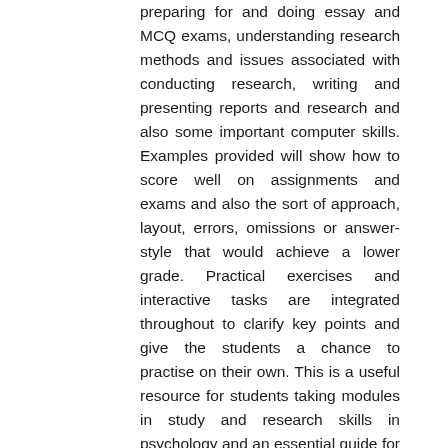preparing for and doing essay and MCQ exams, understanding research methods and issues associated with conducting research, writing and presenting reports and research and also some important computer skills. Examples provided will show how to score well on assignments and exams and also the sort of approach, layout, errors, omissions or answer-style that would achieve a lower grade. Practical exercises and interactive tasks are integrated throughout to clarify key points and give the students a chance to practise on their own. This is a useful resource for students taking modules in study and research skills in psychology and an essential guide for all other students studying on psychology programmes. Dr Sieglinde McGee is an Associate of the School of Psychology at Trinity College, Dublin, where she taught for several years.